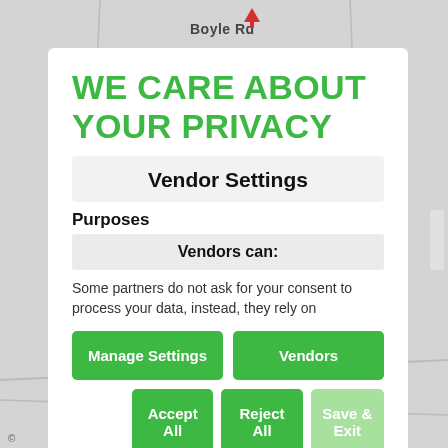[Figure (screenshot): Background map screenshot showing 'Boyle Rd' road label and a red location pin, with gray UI elements on left side]
WE CARE ABOUT YOUR PRIVACY
Vendor Settings
Purposes
Vendors can:
Some partners do not ask for your consent to process your data, instead, they rely on
Manage Settings
Vendors
Accept All
Reject All
Save & Exit